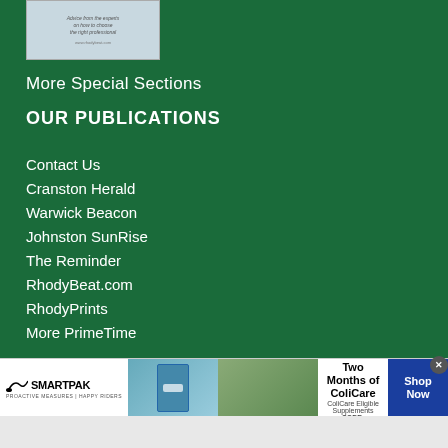[Figure (illustration): Small book/guide cover image showing a person receiving treatment with text 'Advice from the experts on how to choose the right professional']
More Special Sections
OUR PUBLICATIONS
Contact Us
Cranston Herald
Warwick Beacon
Johnston SunRise
The Reminder
RhodyBeat.com
RhodyPrints
More PrimeTime
[Figure (advertisement): SmartPak advertisement banner. 50% Off Two Months of ColiCare. ColiCare Eligible Supplements. CODE: COLICARE10. Shop Now button.]